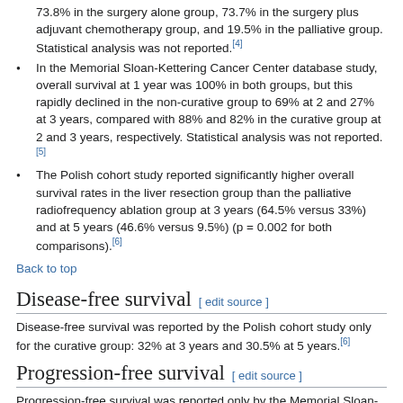73.8% in the surgery alone group, 73.7% in the surgery plus adjuvant chemotherapy group, and 19.5% in the palliative group. Statistical analysis was not reported.[4]
In the Memorial Sloan-Kettering Cancer Center database study, overall survival at 1 year was 100% in both groups, but this rapidly declined in the non-curative group to 69% at 2 and 27% at 3 years, compared with 88% and 82% in the curative group at 2 and 3 years, respectively. Statistical analysis was not reported.[5]
The Polish cohort study reported significantly higher overall survival rates in the liver resection group than the palliative radiofrequency ablation group at 3 years (64.5% versus 33%) and at 5 years (46.6% versus 9.5%) (p = 0.002 for both comparisons).[6]
Back to top
Disease-free survival
Disease-free survival was reported by the Polish cohort study only for the curative group: 32% at 3 years and 30.5% at 5 years.[6]
Progression-free survival
Progression-free survival was reported only by the Memorial Sloan-Kettering Cancer Center database study. At 1-year follow-up,